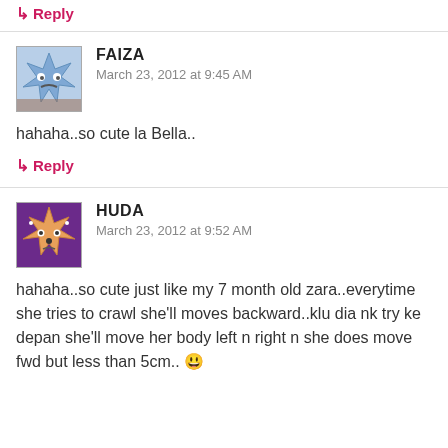↳ Reply
FAIZA
March 23, 2012 at 9:45 AM
hahaha..so cute la Bella..
↳ Reply
HUDA
March 23, 2012 at 9:52 AM
hahaha..so cute just like my 7 month old zara..everytime she tries to crawl she'll moves backward..klu dia nk try ke depan she'll move her body left n right n she does move fwd but less than 5cm.. 😄